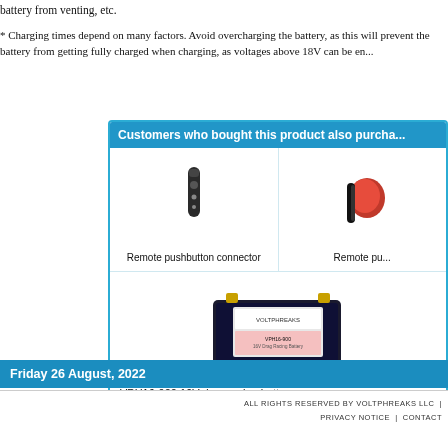battery from venting, etc.
* Charging times depend on many factors. Avoid overcharging the battery, as this will prevent the battery from getting fully charged when charging, as voltages above 18V can be en...
Customers who bought this product also purchased:
[Figure (photo): Remote pushbutton connector - small black cylindrical remote]
Remote pushbutton connector
[Figure (photo): Remote pushbutton connector with red/black cable]
Remote pu...
[Figure (photo): VPH16-900 16V drag racing battery - rectangular black battery]
VPH16-900 16V drag racing battery
Friday 26 August, 2022
ALL RIGHTS RESERVED BY VOLTPHREAKS LLC | PRIVACY NOTICE | CONTACT